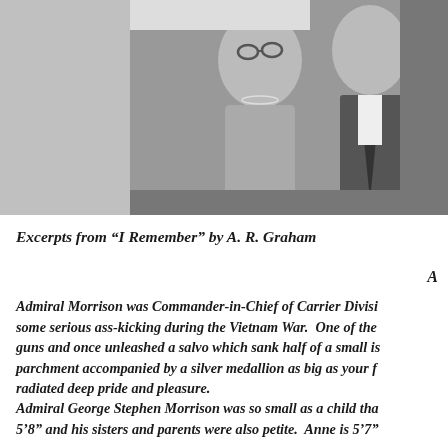[Figure (photo): Black and white photograph of an elderly couple, woman with glasses and pearl necklace on the left, man in suit and tie on the right, both smiling]
Excerpts from “I Remember” by A. R. Graham
A
Admiral Morrison was Commander-in-Chief of Carrier Divisi… some serious ass-kicking during the Vietnam War.  One of the… guns and once unleashed a salvo which sank half of a small is… parchment accompanied by a silver medallion as big as your f… radiated deep pride and pleasure.
Admiral George Stephen Morrison was so small as a child tha… 5’8” and his sisters and parents were also petite.  Anne is 5’7”…